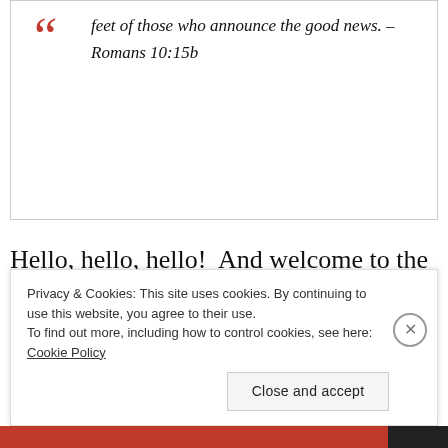feet of those who announce the good news. – Romans 10:15b
Hello, hello, hello!  And welcome to the Spark Preaching blog, where I intend to reflect, both as eloquently and plainly as I can, about the craft of Christian proclamation.  I've been preaching weekly for the majority of my 25-year tenure as a pastor under appointment in the United Methodist Church.  So, I get
Privacy & Cookies: This site uses cookies. By continuing to use this website, you agree to their use.
To find out more, including how to control cookies, see here: Cookie Policy
Close and accept